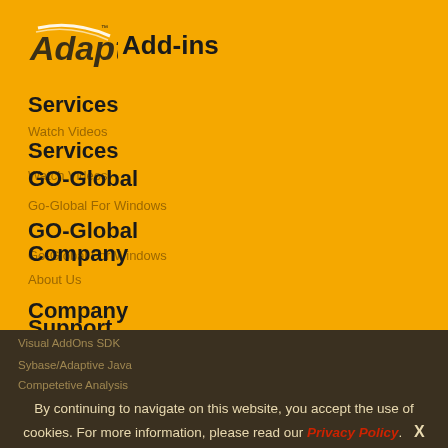[Figure (logo): Adapt logo with stylized text and swoosh mark]
Add-ins
Services
Watch Videos
GO-Global
Go-Global For Windows
Company
About Us
Support
Go-Global
Contact
Go-Global For Windows
Go-Global For Unix
Visual AddOns SDK
Sybase/Adaptive Java
Competetive Analysis
By continuing to navigate on this website, you accept the use of cookies. For more information, please read our Privacy Policy. X